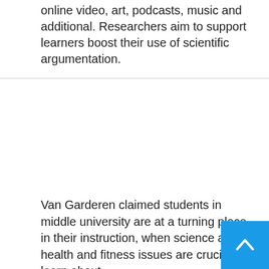online video, art, podcasts, music and additional. Researchers aim to support learners boost their use of scientific argumentation.
Van Garderen claimed students in middle university are at a turning place in their instruction, when science and health and fitness issues are crucial to learn about.
“We’re targeting center university simply because that’s when we believe a great deal of students start off contemplating about what are the things they are interested in the foreseeable future about carrying out,” she mentioned.
The plan will also focus on individuals with